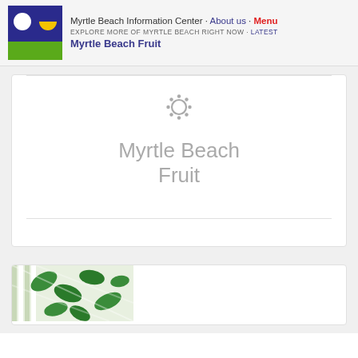Myrtle Beach Information Center · About us · Menu
EXPLORE MORE OF MYRTLE BEACH RIGHT NOW · Latest
Myrtle Beach Fruit
[Figure (logo): Myrtle Beach Information Center logo: blue square with white circle and yellow half-circle, green rectangle below]
[Figure (illustration): Decorative sun/gear icon in gray, centered in card]
Myrtle Beach Fruit
[Figure (photo): Photo of tropical leaf patterned fabric or pillows with green and white design]